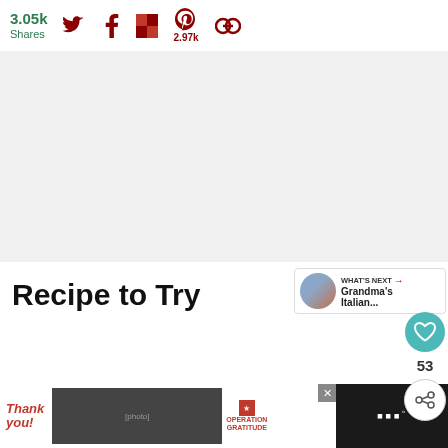3.05k Shares
[Figure (screenshot): Social sharing bar with Twitter, Facebook, Flipboard, Pinterest (2.97k), and another icon]
[Figure (photo): Large light gray image placeholder area]
[Figure (infographic): Side action buttons: heart/like button (teal circle), count 53, share button]
Recipe to Try
[Figure (screenshot): What's Next panel with thumbnail and text: Grandma's Italian...]
[Figure (screenshot): Advertisement bar at bottom: Thank you Operation Gratitude banner with firefighters photo and close button]